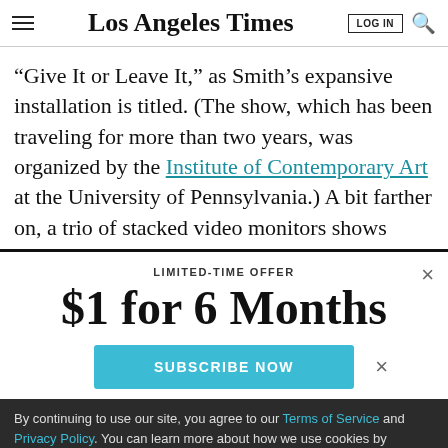Los Angeles Times
“Give It or Leave It,” as Smith’s expansive installation is titled. (The show, which has been traveling for more than two years, was organized by the Institute of Contemporary Art at the University of Pennsylvania.) A bit farther on, a trio of stacked video monitors shows
LIMITED-TIME OFFER
$1 for 6 Months
SUBSCRIBE NOW
By continuing to use our site, you agree to our Terms of Service and Privacy Policy. You can learn more about how we use cookies by reviewing our Privacy Policy. Close